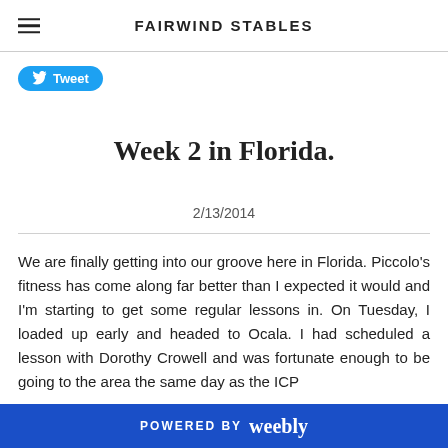FAIRWIND STABLES
[Figure (other): Twitter Tweet button with bird logo]
Week 2 in Florida.
2/13/2014
We are finally getting into our groove here in Florida. Piccolo's fitness has come along far better than I expected it would and I'm starting to get some regular lessons in. On Tuesday, I loaded up early and headed to Ocala. I had scheduled a lesson with Dorothy Crowell and was fortunate enough to be going to the area the same day as the ICP
POWERED BY weebly